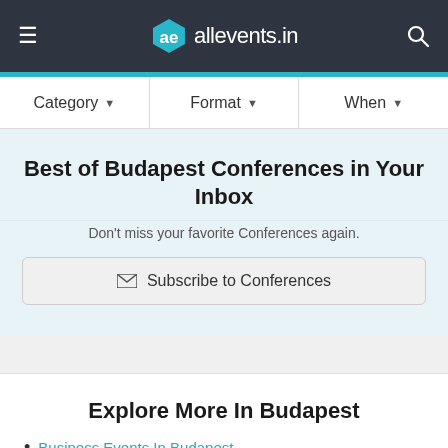allevents.in
Category ▼   Format ▼   When ▼
Best of Budapest Conferences in Your Inbox
Don't miss your favorite Conferences again.
Subscribe to Conferences
Explore More In Budapest
Business Events In Budapest